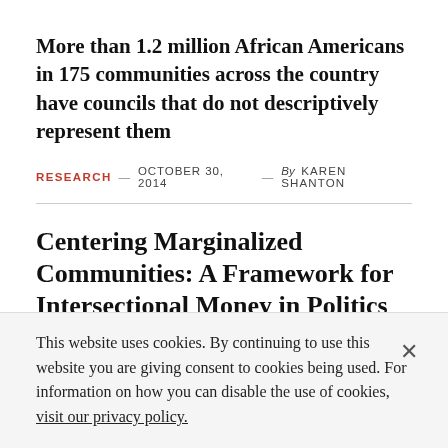More than 1.2 million African Americans in 175 communities across the country have councils that do not descriptively represent them
RESEARCH — OCTOBER 30, 2014 — By KAREN SHANTON
Centering Marginalized Communities: A Framework for Intersectional Money in Politics Events
This website uses cookies. By continuing to use this website you are giving consent to cookies being used. For information on how you can disable the use of cookies, visit our privacy policy.